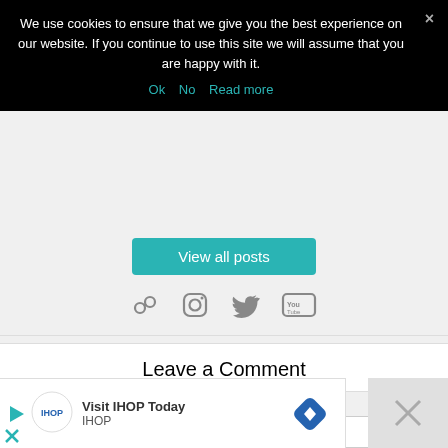We use cookies to ensure that we give you the best experience on our website. If you continue to use this site we will assume that you are happy with it.
Ok   No   Read more
[Figure (screenshot): View all posts button with social media icons (link, Instagram, Twitter, YouTube)]
Leave a Comment
Comment
[Figure (screenshot): Comment textarea input field]
[Figure (screenshot): IHOP advertisement banner: Visit IHOP Today, IHOP logo, blue diamond navigation icon, close button]